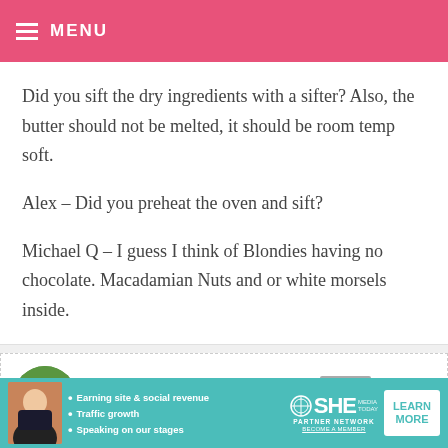MENU
Did you sift the dry ingredients with a sifter? Also, the butter should not be melted, it should be room temp soft.
Alex – Did you preheat the oven and sift?
Michael Q – I guess I think of Blondies having no chocolate. Macadamian Nuts and or white morsels inside.
MICHAEL Q — MAY 13, 2010 @ 8:34 PM  REPLY  X
[Figure (photo): Advertisement banner for SHE Partner Network with a woman photo, bullets about Earning site & social revenue, Traffic growth, Speaking on our stages, and a Learn More button]